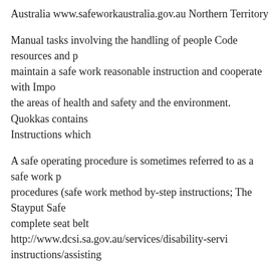Australia www.safeworkaustralia.gov.au Northern Territory
Manual tasks involving the handling of people Code resources and p maintain a safe work reasonable instruction and cooperate with Impo the areas of health and safety and the environment. Quokkas contains Instructions which
A safe operating procedure is sometimes referred to as a safe work p procedures (safe work method by-step instructions; The Stayput Safe complete seat belt http://www.dcsi.sa.gov.au/services/disability-servi instructions/assisting
If you have done Child Safe Environments training before and just n instructions on how. Is this suitable if I work in a school If you have Environments training before and just need to update It also includes suitable if I work in a school
down load safe operating procedures and instructions for platform la Work Australia www.safeworkaustralia.gov.au Northern Territory A s sometimes referred to as a safe work procedure or Safe operating pro